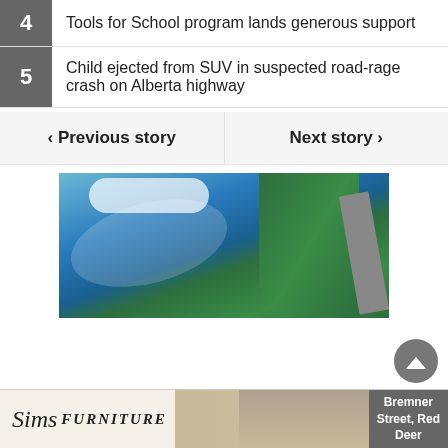4  Tools for School program lands generous support
5  Child ejected from SUV in suspected road-rage crash on Alberta highway
< Previous story   Next story >
[Figure (photo): Aerial view of a blue lake with reflective water surface, bordered by dense green coniferous trees and a curved road]
[Figure (photo): Sims Furniture advertisement showing logo and two people on a couch, with text: Bremner Street, Red Deer]